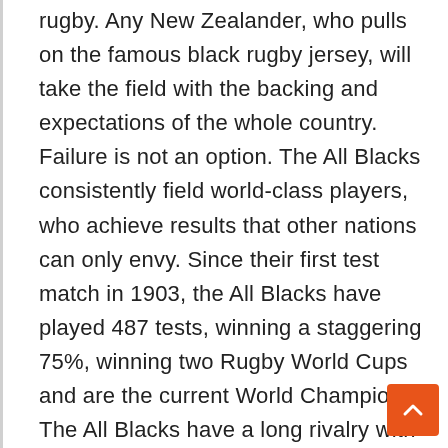rugby. Any New Zealander, who pulls on the famous black rugby jersey, will take the field with the backing and expectations of the whole country. Failure is not an option. The All Blacks consistently field world-class players, who achieve results that other nations can only envy. Since their first test match in 1903, the All Blacks have played 487 tests, winning a staggering 75%, winning two Rugby World Cups and are the current World Champions. The All Blacks have a long rivalry with the South African Springboks. Rugby in South Africa almost has the status of a religion and the supporters are fanatical. The country has a reputation for producing big, uncompromising players with immense skill and, before the introduction of professional rugby an